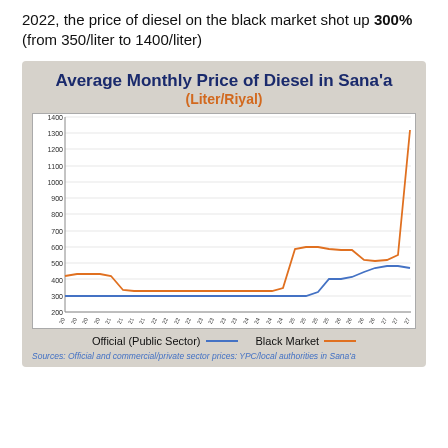2022, the price of diesel on the black market shot up 300% (from 350/liter to 1400/liter)
[Figure (line-chart): Average Monthly Price of Diesel in Sana'a (Liter/Riyal)]
Sources: Official and commercial/private sector prices: YPC/local authorities in Sana'a